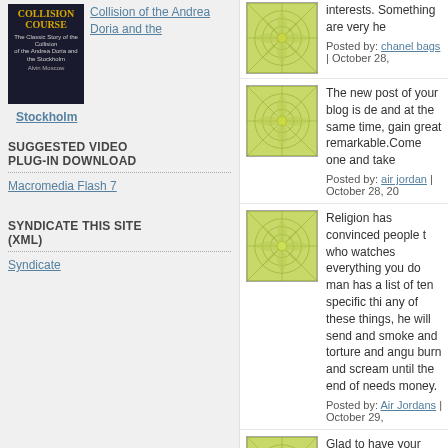[Figure (illustration): Book cover for 'Collision Course' about the collision of the Andrea Doria and the Stockholm]
Collision of the Andrea Doria and the Stockholm
Stockholm
SUGGESTED VIDEO PLUG-IN DOWNLOAD
Macromedia Flash 7
SYNDICATE THIS SITE (XML)
Syndicate
[Figure (illustration): Green geometric star/snowflake pattern avatar]
interests. Something are very he
Posted by: chanel bags | October 28,
[Figure (illustration): Green geometric star/snowflake pattern avatar]
The new post of your blog is de and at the same time, gain great remarkable.Come one and take
Posted by: air jordan | October 28, 20
[Figure (illustration): Green geometric star/snowflake pattern avatar]
Religion has convinced people t who watches everything you do man has a list of ten specific thi any of these things, he will send and smoke and torture and angu burn and scream until the end of needs money.
Posted by: Air Jordans | October 29,
[Figure (illustration): Green geometric star/snowflake pattern avatar]
Glad to have your information. on your pages is wonderful. tha